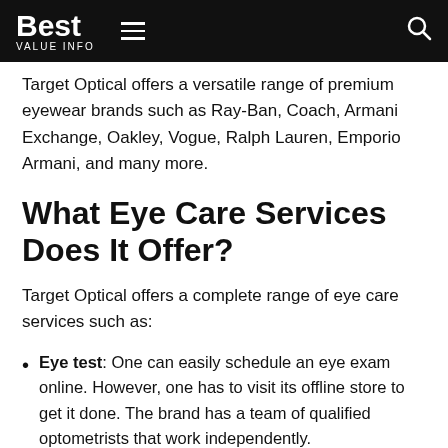Best VALUE INFO
Target Optical offers a versatile range of premium eyewear brands such as Ray-Ban, Coach, Armani Exchange, Oakley, Vogue, Ralph Lauren, Emporio Armani, and many more.
What Eye Care Services Does It Offer?
Target Optical offers a complete range of eye care services such as:
Eye test: One can easily schedule an eye exam online. However, one has to visit its offline store to get it done. The brand has a team of qualified optometrists that work independently.